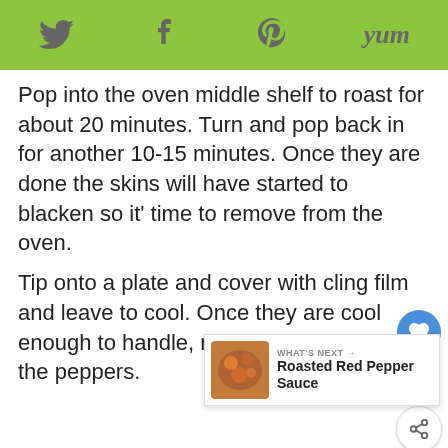Twitter Facebook Pinterest Yum
Pop into the oven middle shelf to roast for about 20 minutes. Turn and pop back in for another 10-15 minutes. Once they are done the skins will have started to blacken so it' time to remove from the oven.
Tip onto a plate and cover with cling film and leave to cool. Once they are cool enough to handle, remove the skin from the peppers.
[Figure (other): Floating UI widget with heart/like button showing count 2 and share button]
[Figure (other): What's Next panel showing Roasted Red Pepper Sauce with food thumbnail]